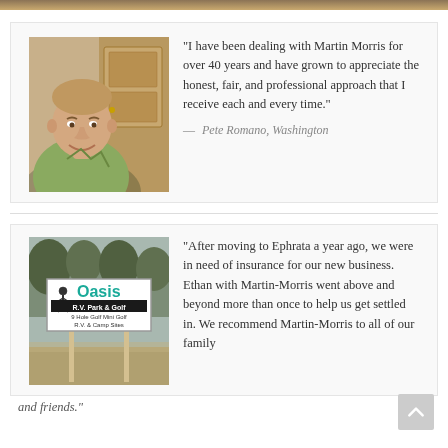[Figure (photo): Top decorative bar with wood texture background]
[Figure (photo): Headshot of Pete Romano, a middle-aged man in a green shirt, smiling, seated indoors]
“I have been dealing with Martin Morris for over 40 years and have grown to appreciate the honest, fair, and professional approach that I receive each and every time.”
— Pete Romano, Washington
[Figure (photo): Sign for Oasis R.V. Park & Golf showing: 9 Hole Golf, Mini Golf, R.V. & Camp Sites]
“After moving to Ephrata a year ago, we were in need of insurance for our new business. Ethan with Martin-Morris went above and beyond more than once to help us get settled in. We recommend Martin-Morris to all of our family
and friends.”